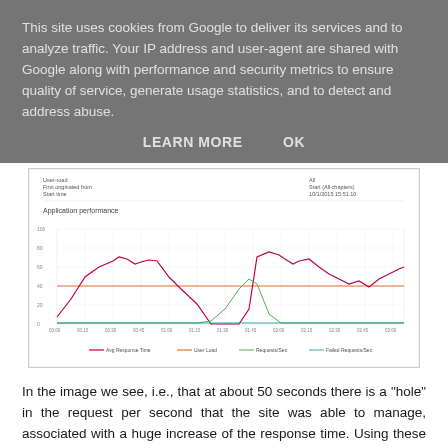This site uses cookies from Google to deliver its services and to analyze traffic. Your IP address and user-agent are shared with Google along with performance and security metrics to ensure quality of service, generate usage statistics, and to detect and address abuse.
LEARN MORE    OK
[Figure (line-chart): Line chart showing application performance metrics over time including Avg Response Time, User Load, Requests/Sec, and Failed Requests/Sec]
In the image we see, i.e., that at about 50 seconds there is a "hole" in the request per second that the site was able to manage, associated with a huge increase of the response time. Using these data we could start an analysis activity over our application or our infrastructure to understand why and where this anomaly happened.